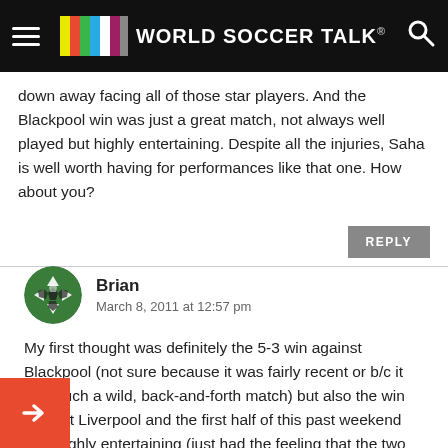World Soccer Talk
down away facing all of those star players. And the Blackpool win was just a great match, not always well played but highly entertaining. Despite all the injuries, Saha is well worth having for performances like that one. How about you?
REPLY
Brian
March 8, 2011 at 12:57 pm
My first thought was definitely the 5-3 win against Blackpool (not sure because it was fairly recent or b/c it was such a wild, back-and-forth match) but also the win against Liverpool and the first half of this past weekend was highly entertaining (just had the feeling that the two teams were fairly equal and complementary, in a weird way).